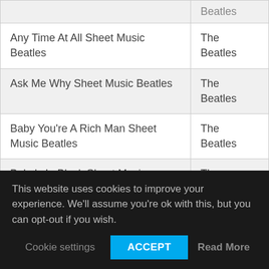| Title | Artist |
| --- | --- |
| [Beatles] | Beatles |
| Any Time At All Sheet Music Beatles | The Beatles |
| Ask Me Why Sheet Music Beatles | The Beatles |
| Baby You're A Rich Man Sheet Music Beatles | The Beatles |
| Baby's In Black Sheet Music Beatles | The Beatles |
| Back In The USSR Sheet Music Beatles | The |
This website uses cookies to improve your experience. We'll assume you're ok with this, but you can opt-out if you wish.